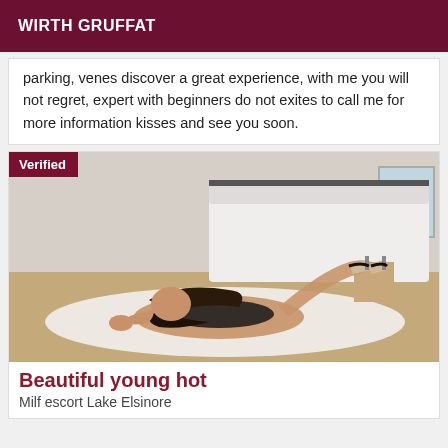WIRTH GRUFFAT
parking, venes discover a great experience, with me you will not regret, expert with beginners do not exites to call me for more information kisses and see you soon.
[Figure (photo): Woman posing on floor in bedroom setting; 'Verified' badge overlay in top-left corner]
Beautiful young hot
Milf escort Lake Elsinore